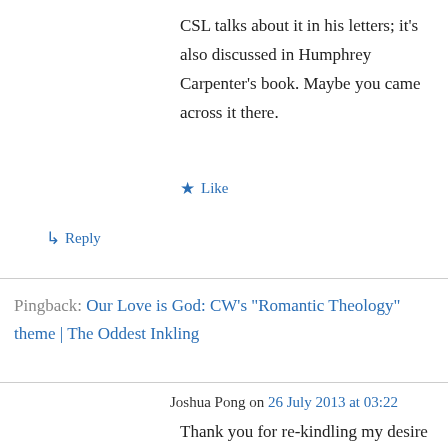CSL talks about it in his letters; it's also discussed in Humphrey Carpenter's book. Maybe you came across it there.
★ Like
↳ Reply
Pingback: Our Love is God: CW's "Romantic Theology" theme | The Oddest Inkling
Joshua Pong on 26 July 2013 at 03:22
Thank you for re-kindling my desire for CW. I wrote many posts to Co-inherence years ago. But after joining Mike Partridge's Wingfold, I gradually withdrew from the former. Your piece